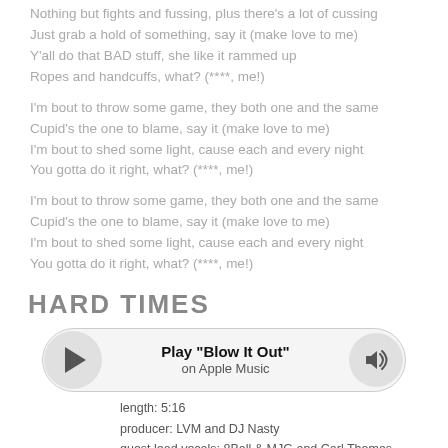Nothing but fights and fussing, plus there's a lot of cussing
Just grab a hold of something, say it (make love to me)
Y'all do that BAD stuff, she like it rammed up
Ropes and handcuffs, what? (****, me!)
I'm bout to throw some game, they both one and the same
Cupid's the one to blame, say it (make love to me)
I'm bout to shed some light, cause each and every night
You gotta do it right, what? (****, me!)
I'm bout to throw some game, they both one and the same
Cupid's the one to blame, say it (make love to me)
I'm bout to shed some light, cause each and every night
You gotta do it right, what? (****, me!)
HARD TIMES
[Figure (other): Music player widget with play button, 'Play "Blow It Out" on Apple Music' text, and volume button]
length: 5:16
producer: LVM and DJ Nasty
guest lead vocals: 8Ball & MJG and Carl Thomas
mixer: Jimmy Douglass
recording engineer: Geoff Allen and Cory Williams
guest keyboard: Lenny Mollings
lyricist: Ludacris
[Chorus: Carl Thomas]
I'm tryin' to make it through these hard times (hard, times)